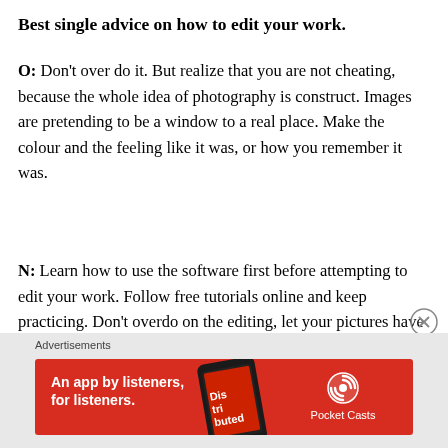Best single advice on how to edit your work.
O: Don't over do it. But realize that you are not cheating, because the whole idea of photography is construct. Images are pretending to be a window to a real place. Make the colour and the feeling like it was, or how you remember it was.
N: Learn how to use the software first before attempting to edit your work. Follow free tutorials online and keep practicing. Don't overdo on the editing, let your pictures have a raw quality to them. I love the burn and dodge tool, which allows you to bring out the detail in the image. You also have greater flexibility with using this tool by editing
[Figure (other): Advertisement banner for Pocket Casts app: red background with text 'An app by listeners, for listeners.' and Pocket Casts logo with a podcast app screenshot]